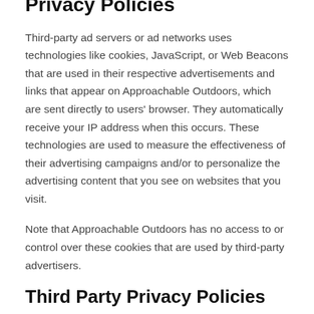Privacy Policies
Third-party ad servers or ad networks uses technologies like cookies, JavaScript, or Web Beacons that are used in their respective advertisements and links that appear on Approachable Outdoors, which are sent directly to users' browser. They automatically receive your IP address when this occurs. These technologies are used to measure the effectiveness of their advertising campaigns and/or to personalize the advertising content that you see on websites that you visit.
Note that Approachable Outdoors has no access to or control over these cookies that are used by third-party advertisers.
Third Party Privacy Policies
Approachable Outdoors's Privacy Policy does not apply